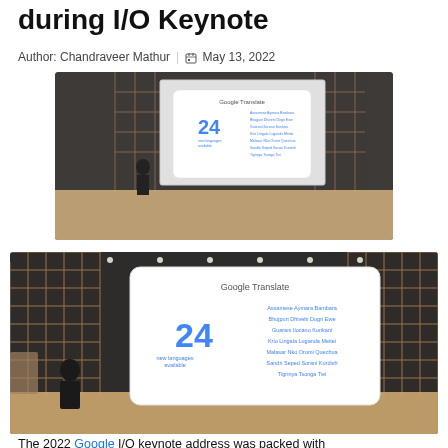during I/O Keynote
Author: Chandraveer Mathur | May 13, 2022
[Figure (photo): Google I/O Keynote stage showing a speaker in front of a large screen displaying Google Translate with 24 new languages (top, smaller view)]
[Figure (photo): Google I/O Keynote stage showing a speaker in front of a large screen displaying Google Translate with 24 new languages (bottom, larger view showing: Assamese, Aymara, Bambara, Bhojpuri, Dhivehi, Dogri, Ewe, Guarani, Ilocano, Konkani, Krio, Lingala, Luganda, Meitei, Malasar, Nko, Oromi, Quechua, Sandhi, Seped, Sorani Kurdish, Tigrinya, Tsonga, Twi)]
The 2022 Google I/O keynote address was packed with